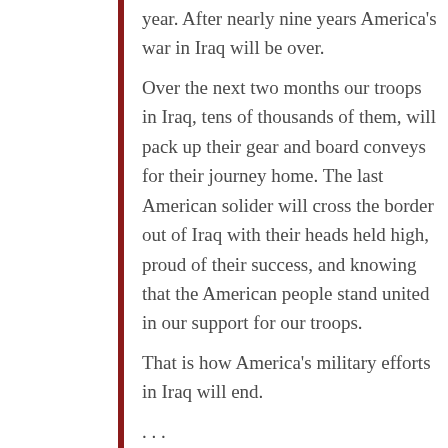year. After nearly nine years America's war in Iraq will be over.
Over the next two months our troops in Iraq, tens of thousands of them, will pack up their gear and board conveys for their journey home. The last American solider will cross the border out of Iraq with their heads held high, proud of their success, and knowing that the American people stand united in our support for our troops.
That is how America's military efforts in Iraq will end.
. . .
We'll honor our many wounded warriors and the nearly forty five hundred American Patriots and their Iraqi and coalition partners who gave their lives for this effort. And, finally I would note that